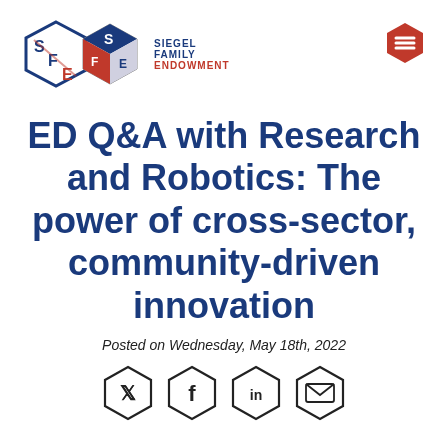[Figure (logo): Siegel Family Endowment logo with hexagonal SFE icon and text]
[Figure (other): Red hexagonal hamburger menu button]
ED Q&A with Research and Robotics: The power of cross-sector, community-driven innovation
Posted on Wednesday, May 18th, 2022
[Figure (other): Social sharing icons: Twitter, Facebook, LinkedIn, Email in hexagonal outlines]